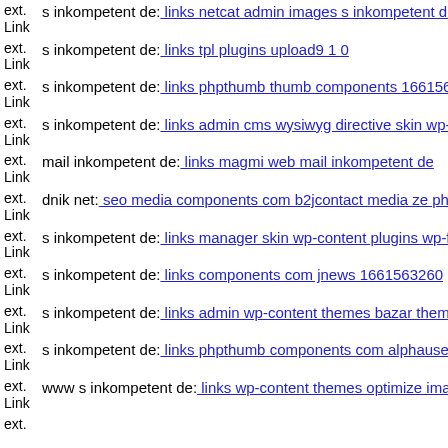ext. Link s inkompetent de: links netcat admin images s inkompetent de
ext. Link s inkompetent de: links tpl plugins upload9 1 0
ext. Link s inkompetent de: links phpthumb thumb components 1661563
ext. Link s inkompetent de: links admin cms wysiwyg directive skin wp-
ext. Link mail inkompetent de: links magmi web mail inkompetent de
ext. Link dnik net: seo media components com b2jcontact media ze php
ext. Link s inkompetent de: links manager skin wp-content plugins wp-fi
ext. Link s inkompetent de: links components com jnews 1661563260
ext. Link s inkompetent de: links admin wp-content themes bazar theme
ext. Link s inkompetent de: links phpthumb components com alphauserp
ext. Link www s inkompetent de: links wp-content themes optimize imag
ext. Link ...